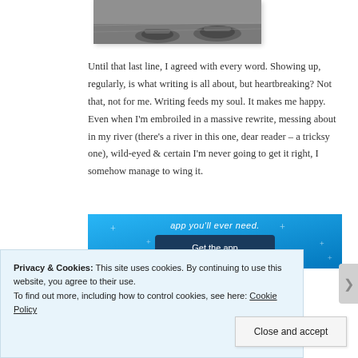[Figure (photo): Partial black and white photograph showing feet/shoes on a wooden floor, cropped at top of page]
Until that last line, I agreed with every word. Showing up, regularly, is what writing is all about, but heartbreaking? Not that, not for me. Writing feeds my soul. It makes me happy. Even when I'm embroiled in a massive rewrite, messing about in my river (there's a river in this one, dear reader – a tricksy one), wild-eyed & certain I'm never going to get it right, I somehow manage to wing it.
[Figure (screenshot): Blue app advertisement banner showing 'app you'll ever need.' text and a dark blue 'Get the app' button with sparkle dots decoration]
Privacy & Cookies: This site uses cookies. By continuing to use this website, you agree to their use.
To find out more, including how to control cookies, see here: Cookie Policy
Close and accept